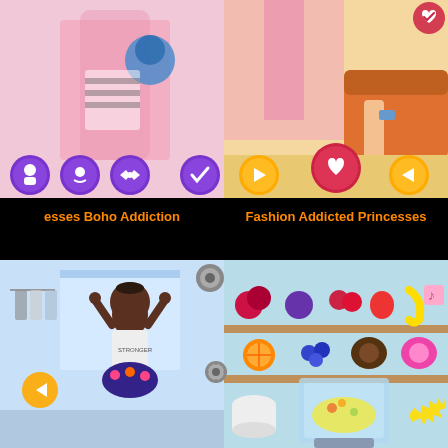[Figure (screenshot): Game screenshot top-left: princess dress-up game with pink background, character with dark hair, purple circular UI icons at bottom]
[Figure (screenshot): Game screenshot top-right: fashion addicted princesses game with orange/warm background, character in casual clothes, game controller heart icon]
esses Boho Addiction
Fashion Addicted Princesses
[Figure (screenshot): Game screenshot bottom-left: fitness/dance game with blue background, dark-skinned character with arms raised, arrow navigation icon]
[Figure (screenshot): Game screenshot bottom-right: smoothie/juice maker game with colorful fruits on shelves, blender with yellow liquid]
نحن نستخدم ملفات تعريف الارتباط في تقديم مقترحات لبعض المحتويات، وقياس نسبة زوار الموقع، وتخصيص الإعلانات. باستخدامك لهذا الموقع فإنك تقر بموافقتك على سياسة الخصوصية و سياسة ملفات تعريف الارتباط
فهمت